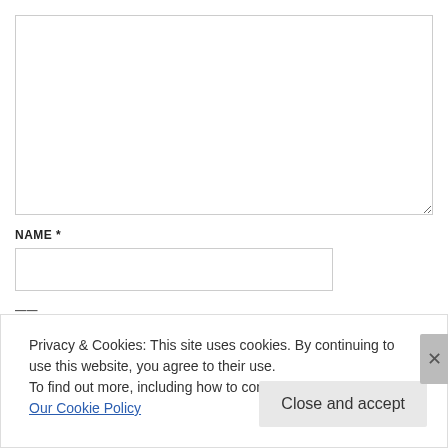[Figure (screenshot): Empty textarea form field with resize handle in bottom-right corner]
NAME *
[Figure (screenshot): Name text input field (empty)]
Privacy & Cookies: This site uses cookies. By continuing to use this website, you agree to their use.
To find out more, including how to control cookies, see here: Our Cookie Policy
Close and accept